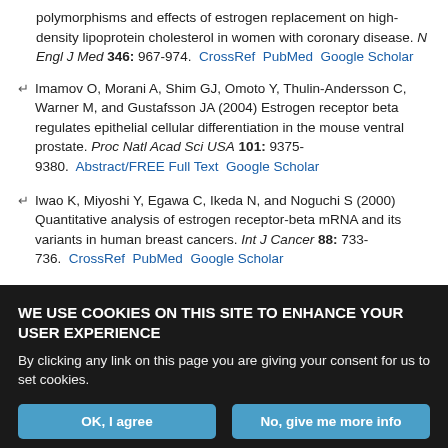polymorphisms and effects of estrogen replacement on high-density lipoprotein cholesterol in women with coronary disease. N Engl J Med 346: 967-974. CrossRef PubMed Google Scholar
Imamov O, Morani A, Shim GJ, Omoto Y, Thulin-Andersson C, Warner M, and Gustafsson JA (2004) Estrogen receptor beta regulates epithelial cellular differentiation in the mouse ventral prostate. Proc Natl Acad Sci USA 101: 9375-9380. Abstract/FREE Full Text Google Scholar
Iwao K, Miyoshi Y, Egawa C, Ikeda N, and Noguchi S (2000) Quantitative analysis of estrogen receptor-beta mRNA and its variants in human breast cancers. Int J Cancer 88: 733-736. CrossRef PubMed Google Scholar
Jensen EV and Jordan VC (2003) The estrogen receptor: a model for molecular medicine. Clin Cancer Res 9: 1980-1989.
WE USE COOKIES ON THIS SITE TO ENHANCE YOUR USER EXPERIENCE
By clicking any link on this page you are giving your consent for us to set cookies.